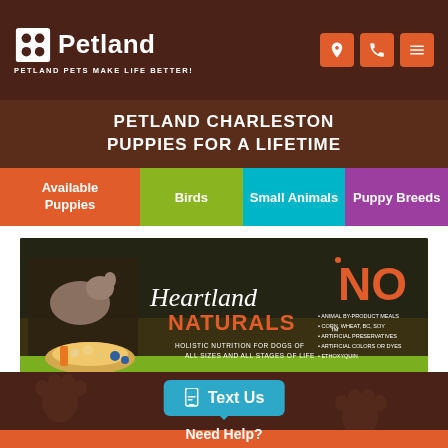Petland — PETLAND PETS MAKE LIFE BETTER!
PETLAND CHARLESTON
PUPPIES FOR A LIFETIME
Available Puppies
Birds
Small Animals
Puppy Breeds
[Figure (photo): Heartland Naturals dog food banner advertisement showing a small dog, food bowl with grains and vegetables, the Heartland Naturals logo, and text saying NO with bullet points listing no animal by-product meals, corn/wheat/bc/soy, artificial preservatives, artificial colors or dyes, ethoxyquin. Tagline: Holistic nutrition for dogs of all sizes and all stages of life.]
Text Us | Need Help?